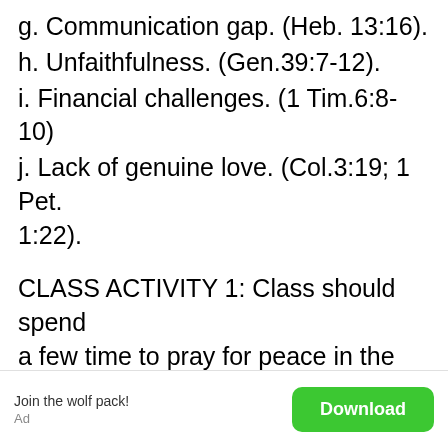g. Communication gap. (Heb. 13:16).
h. Unfaithfulness. (Gen.39:7-12).
i. Financial challenges. (1 Tim.6:8-10)
j. Lack of genuine love. (Col.3:19; 1 Pet. 1:22).
CLASS ACTIVITY 1: Class should spend a few time to pray for peace in the family?
LESSON OUTLINE 2. BIBLICAL WAYS OF MANAGING CONFLICT WITHIN THE FAMILY
Join the wolf pack!
Ad
Download